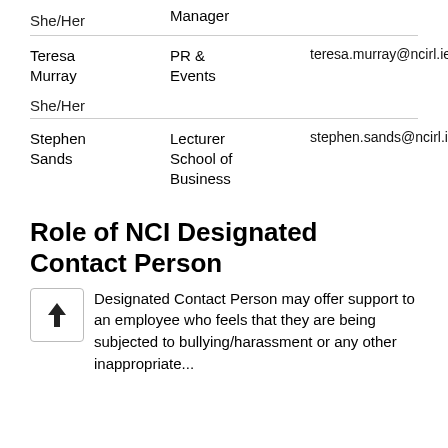| Name | Role | Email |
| --- | --- | --- |
| She/Her | Manager |  |
| Teresa Murray
She/Her | PR &
Events | teresa.murray@ncirl.ie |
| Stephen Sands | Lecturer
School of
Business | stephen.sands@ncirl.ie |
Role of NCI Designated Contact Person
Designated Contact Person may offer support to an employee who feels that they are being subjected to bullying/harassment or any other inappropriate...